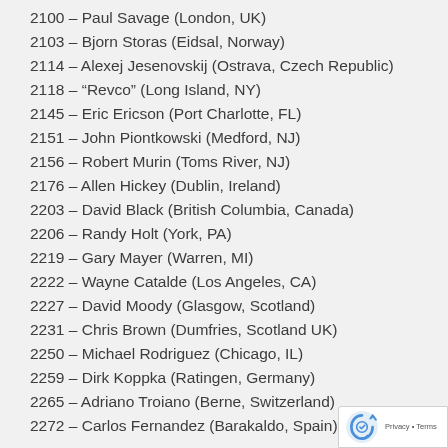2100 – Paul Savage (London, UK)
2103 – Bjorn Storas (Eidsal, Norway)
2114 – Alexej Jesenovskij (Ostrava, Czech Republic)
2118 – “Revco” (Long Island, NY)
2145 – Eric Ericson (Port Charlotte, FL)
2151 – John Piontkowski (Medford, NJ)
2156 – Robert Murin (Toms River, NJ)
2176 – Allen Hickey (Dublin, Ireland)
2203 – David Black (British Columbia, Canada)
2206 – Randy Holt (York, PA)
2219 – Gary Mayer (Warren, MI)
2222 – Wayne Catalde (Los Angeles, CA)
2227 – David Moody (Glasgow, Scotland)
2231 – Chris Brown (Dumfries, Scotland UK)
2250 – Michael Rodriguez (Chicago, IL)
2259 – Dirk Koppka (Ratingen, Germany)
2265 – Adriano Troiano (Berne, Switzerland)
2272 – Carlos Fernandez (Barakaldo, Spain)